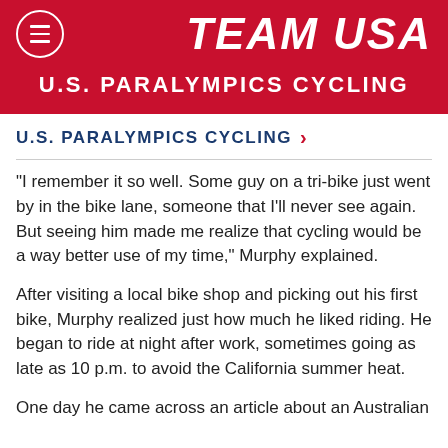TEAM USA
U.S. PARALYMPICS CYCLING
U.S. PARALYMPICS CYCLING
"I remember it so well. Some guy on a tri-bike just went by in the bike lane, someone that I'll never see again. But seeing him made me realize that cycling would be a way better use of my time," Murphy explained.
After visiting a local bike shop and picking out his first bike, Murphy realized just how much he liked riding. He began to ride at night after work, sometimes going as late as 10 p.m. to avoid the California summer heat.
One day he came across an article about an Australian